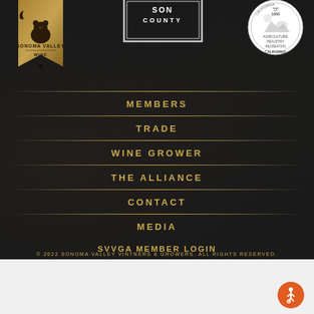[Figure (logo): Sonoma Valley Wine badge logo, gold bookmark shape with bear and crescent moon]
[Figure (logo): Sonoma County stamp/seal, black and white rectangular stamp]
[Figure (logo): California state seal, circular with Agriculture Industry Recreation text]
MEMBERS
TRADE
WINE GROWER
THE ALLIANCE
CONTACT
MEDIA
SVVGA MEMBER LOGIN
© 2022 SONOMA VALLEY VINTNERS & GROWERS. ALL RIGHTS RESERVED.
[Figure (logo): Orange circular accessibility icon with wheelchair symbol]